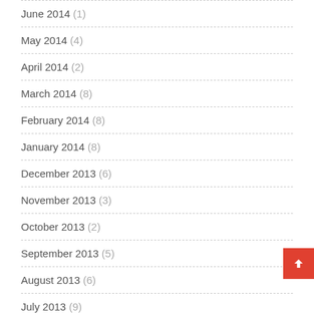June 2014 (1)
May 2014 (4)
April 2014 (2)
March 2014 (8)
February 2014 (8)
January 2014 (8)
December 2013 (6)
November 2013 (3)
October 2013 (2)
September 2013 (5)
August 2013 (6)
July 2013 (9)
June 2013 (8)